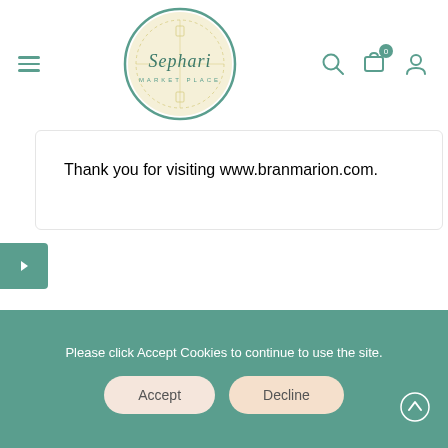[Figure (logo): Sephari Market Place logo — circular badge with cream/yellow ornamental background and teal script text reading 'Sephari' with 'MARKET PLACE' below]
Thank you for visiting www.branmarion.com.
Enquiry about product?
Please click Accept Cookies to continue to use the site.
Accept
Decline